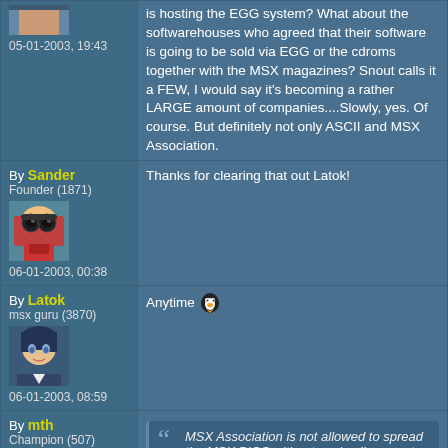05-01-2003, 19:43 — is hosting the EGG system? What about the softwarehouses who agreed that their software is going to be sold via EGG or the cdroms together with the MSX magazines? Snout calls it a FEW, I would say it's becoming a rather LARGE amount of companies....Slowly, yes. Of course. But definitely not only ASCII and MSX Association.
By Sander
Founder (1871)
06-01-2003, 00:38
Thanks for clearing that out Latok!
By Latok
msx guru (3870)
06-01-2003, 08:59
Anytime 🐧
By mth
Champion (507)
MSX Association is not allowed to spread the MSX BIOS without paying licenses to Microsoft,
That's understandable because Microsoft owes...